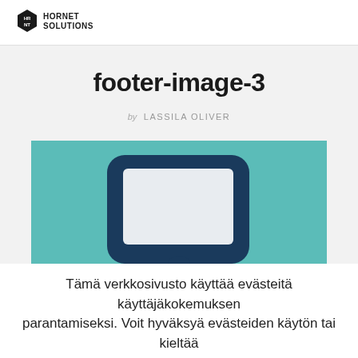HORNET SOLUTIONS
footer-image-3
by LASSILA OLIVER
[Figure (illustration): Illustration of a monitor/tablet device with dark blue rounded frame on a teal/mint background]
Tämä verkkosivusto käyttää evästeitä käyttäjäkokemuksen parantamiseksi. Voit hyväksyä evästeiden käytön tai kieltää sen. Hyväksy Lue lisää evästeistä